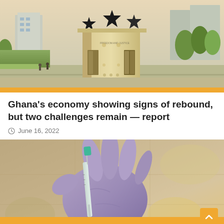[Figure (photo): Aerial view of Independence Arch (Black Star Gate) in Accra, Ghana, with city buildings and greenery in background]
Ghana's economy showing signs of rebound, but two challenges remain — report
June 16, 2022
[Figure (photo): Close-up of gloved hands holding a medical syringe with green cap, suggesting vaccine or medical injection]